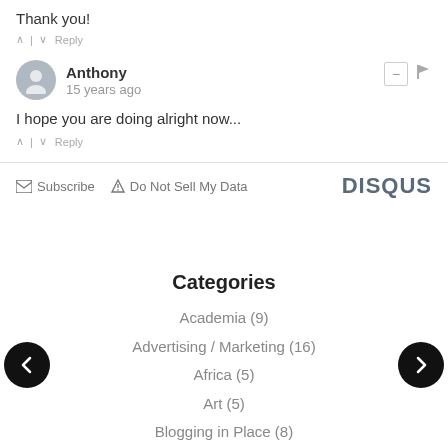Thank you!
^ | v  Reply
Anthony
15 years ago
I hope you are doing alright now...
^ | v  Reply
Subscribe   Do Not Sell My Data   DISQUS
Categories
Academia (9)
Advertising / Marketing (16)
Africa (5)
Art (5)
Blogging in Place (8)